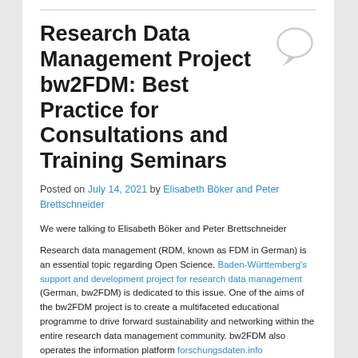Research Data Management Project bw2FDM: Best Practice for Consultations and Training Seminars
Posted on July 14, 2021 by Elisabeth Böker and Peter Brettschneider
We were talking to Elisabeth Böker and Peter Brettschneider
Research data management (RDM, known as FDM in German) is an essential topic regarding Open Science. Baden-Württemberg's support and development project for research data management (German, bw2FDM) is dedicated to this issue. One of the aims of the bw2FDM project is to create a multifaceted educational programme to drive forward sustainability and networking within the entire research data management community. bw2FDM also operates the information platform forschungsdaten.info (Forschungsdaten means research data), which offers a wide-ranging collection of articles on RDM topics. None of these programmes is limited to a specific institution; rather they are aimed at the entire German-speaking community. Elisabeth Böker and Peter Brettschneider, who are involved in the